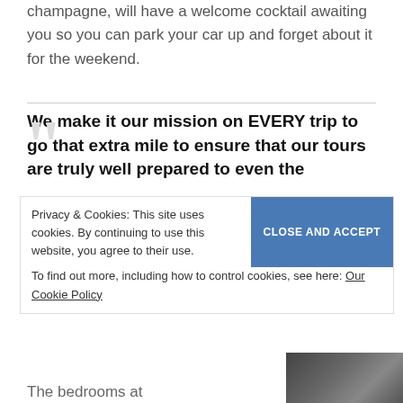champagne, will have a welcome cocktail awaiting you so you can park your car up and forget about it for the weekend.
We make it our mission on EVERY trip to go that extra mile to ensure that our tours are truly well prepared to even the
Privacy & Cookies: This site uses cookies. By continuing to use this website, you agree to their use.
To find out more, including how to control cookies, see here: Our Cookie Policy
The bedrooms at